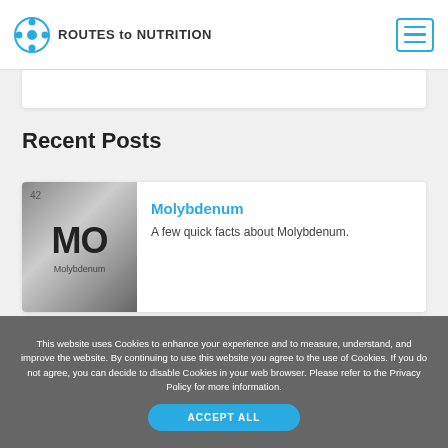ROUTES to NUTRITION
Recent Posts
[Figure (illustration): Periodic table element tile for Molybdenum (Mo), element number 42, displayed in a dark metallic gradient square]
Molybdenum
A few quick facts about Molybdenum.
This website uses Cookies to enhance your experience and to measure, understand, and improve the website. By continuing to use this website you agree to the use of Cookies. If you do not agree, you can decide to disable Cookies in your web browser. Please refer to the Privacy Policy for more information.